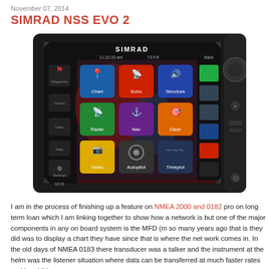November 07, 2014
SIMRAD NSS EVO 2
[Figure (photo): Photo of a Simrad NSS EVO 2 multifunction display showing the home screen with app icons including Chart, Echo, Structure, Radar, Nav, Dash, Video, Autopilot, and Timeplot on a dark background with colorful icons.]
I am in the process of finishing up a feature on NMEA 2000 and 0182 pro on long term loan which I am linking together to show how a network is but one of the major components in any on board system is the MFD (m so many years ago that is they did was to display a chart they have since that is where the net work comes in. In the old days of NMEA 0183 there transducer was a talker and the instrument at the helm was the listener situation where data can be transferred at much faster rates and in additi